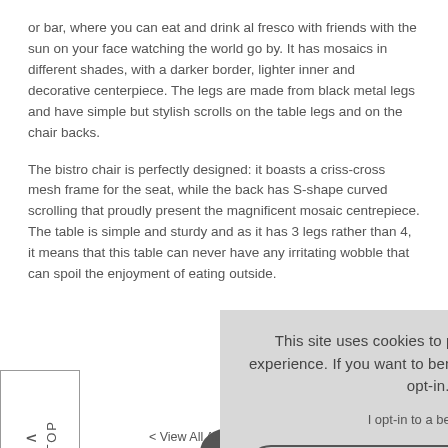or bar, where you can eat and drink al fresco with friends with the sun on your face watching the world go by. It has mosaics in different shades, with a darker border, lighter inner and decorative centerpiece. The legs are made from black metal legs and have simple but stylish scrolls on the table legs and on the chair backs.
The bistro chair is perfectly designed: it boasts a criss-cross mesh frame for the seat, while the back has S-shape curved scrolling that proudly present the magnificent mosaic centrepiece. The table is simple and sturdy and as it has 3 legs rather than 4, it means that this table can never have any irritating wobble that can spoil the enjoyment of eating outside.
[Figure (screenshot): Cookie consent overlay dialog with close button X, text about cookies, opt-in link, and Accept Cookies button]
< View All Athens Patio Set